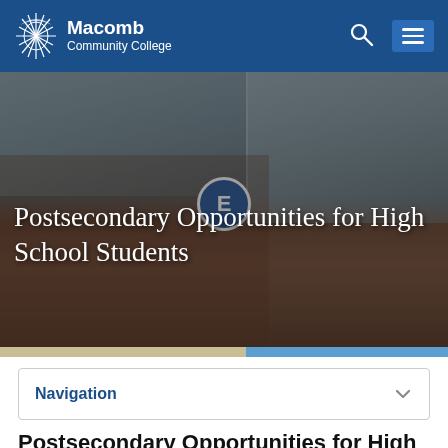Macomb Community College
[Figure (photo): Exterior photo of Macomb Community College building with students walking outside, brick facade with large glass windows and an 'E' entrance sign]
Postsecondary Opportunities for High School Students
Navigation
Postsecondary Opportunities for High School Students